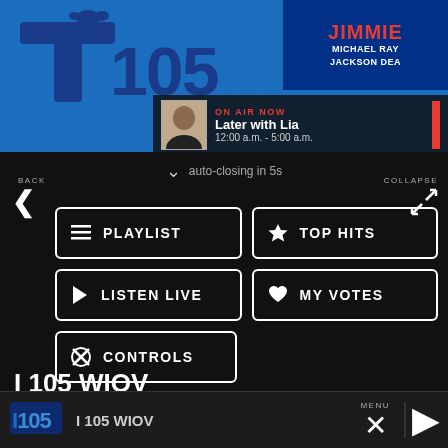[Figure (screenshot): T105 radio station app screenshot showing navigation menu overlay with playlist, top hits, listen live, my votes, controls buttons, data opt-out toggle, and bottom player bar showing I 105 WIOV.]
JIMMIE
MICHAEL RAY
JACKSON DEA
ON AIR NOW
Later with Lia
12:00 a.m. - 5:00 a.m.
auto-closing in 5s
BACK
COLLAPSE
PLAYLIST
TOP HITS
LISTEN LIVE
MY VOTES
CONTROLS
Data opt-out
I 105 WIOV
I 105 WIOV
MENU